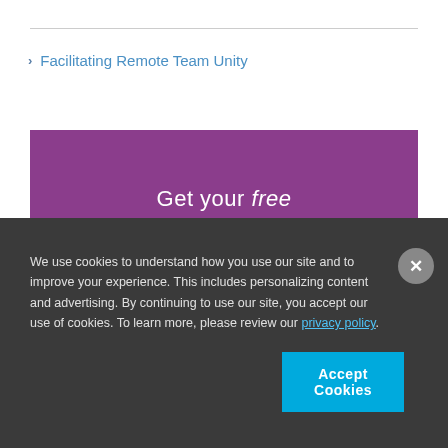Facilitating Remote Team Unity
[Figure (other): Purple promotional banner: Get your free ASAP Newsletter]
We use cookies to understand how you use our site and to improve your experience. This includes personalizing content and advertising. By continuing to use our site, you accept our use of cookies. To learn more, please review our privacy policy.
Accept Cookies